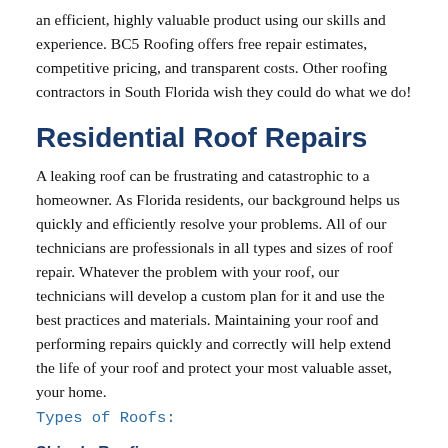an efficient, highly valuable product using our skills and experience. BC5 Roofing offers free repair estimates, competitive pricing, and transparent costs. Other roofing contractors in South Florida wish they could do what we do!
Residential Roof Repairs
A leaking roof can be frustrating and catastrophic to a homeowner. As Florida residents, our background helps us quickly and efficiently resolve your problems. All of our technicians are professionals in all types and sizes of roof repair. Whatever the problem with your roof, our technicians will develop a custom plan for it and use the best practices and materials. Maintaining your roof and performing repairs quickly and correctly will help extend the life of your roof and protect your most valuable asset, your home.
Types of Roofs:
Shingle Roofing
Shingle roofing is the most common of all roofing types found in North America. The durable shingles are made from a variety of materials, including wood, asphalt, stone